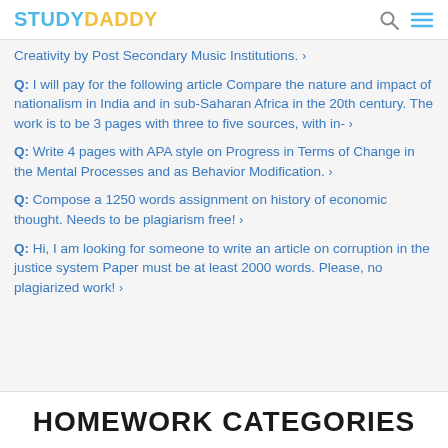STUDYDADDY
Creativity by Post Secondary Music Institutions. >
Q: I will pay for the following article Compare the nature and impact of nationalism in India and in sub-Saharan Africa in the 20th century. The work is to be 3 pages with three to five sources, with in- >
Q: Write 4 pages with APA style on Progress in Terms of Change in the Mental Processes and as Behavior Modification. >
Q: Compose a 1250 words assignment on history of economic thought. Needs to be plagiarism free! >
Q: Hi, I am looking for someone to write an article on corruption in the justice system Paper must be at least 2000 words. Please, no plagiarized work! >
HOMEWORK CATEGORIES